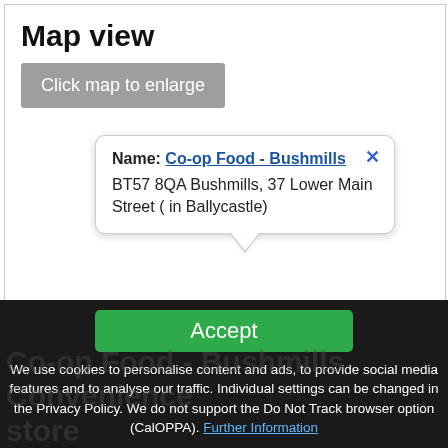Map view
Click map to enlarge
Name: Co-op Food - Bushmills
BT57 8QA Bushmills, 37 Lower Main Street ( in Ballycastle)
Accept
We use cookies to personalise content and ads, to provide social media features and to analyse our traffic. Individual settings can be changed in the Privacy Policy. We do not support the Do Not Track browser option (CalOPPA). Further Information
Co-op Food - Bushmills Convenience store